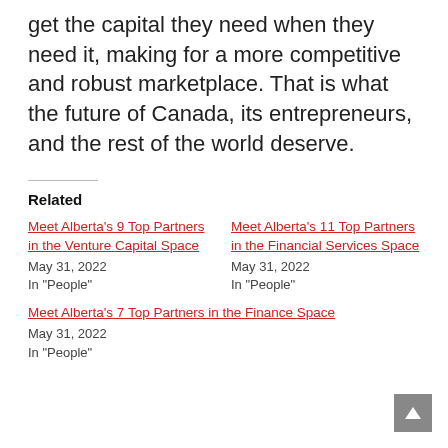get the capital they need when they need it, making for a more competitive and robust marketplace. That is what the future of Canada, its entrepreneurs, and the rest of the world deserve.
Related
Meet Alberta’s 9 Top Partners in the Venture Capital Space
May 31, 2022
In "People"
Meet Alberta’s 11 Top Partners in the Financial Services Space
May 31, 2022
In "People"
Meet Alberta’s 7 Top Partners in the Finance Space
May 31, 2022
In "People"